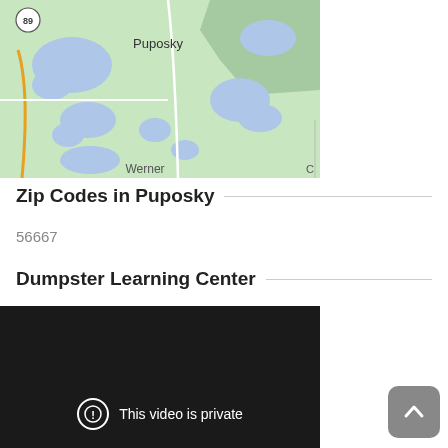[Figure (map): Google Maps view of Puposky area showing lakes, roads, and the town label 'Puposky', with route 89 marker in top left and 'Werner' label at bottom. Green land areas with blue lakes.]
Zip Codes in Puposky
56667
Dumpster Learning Center
[Figure (screenshot): Video player with black background showing 'This video is private' message with exclamation icon in a circle.]